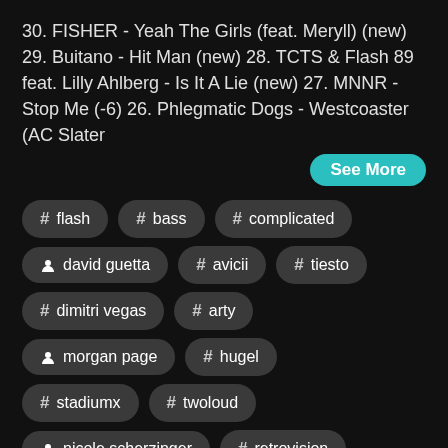30. FISHER - Yeah The Girls (feat. Meryll) (new) 29. Buitano - Hit Man (new) 28. TCTS & Flash 89 feat. Lilly Ahlberg - Is It A Lie (new) 27. MNNR - Stop Me (-6) 26. Phlegmatic Dogs - Westcoaster (AC Slater
See More
# flash
# bass
# complicated
person david guetta
# avicii
# tiesto
# dimitri vegas
# arty
person morgan page
# hugel
# stadiumx
# twoloud
person nicole scherzinger
# retrovision